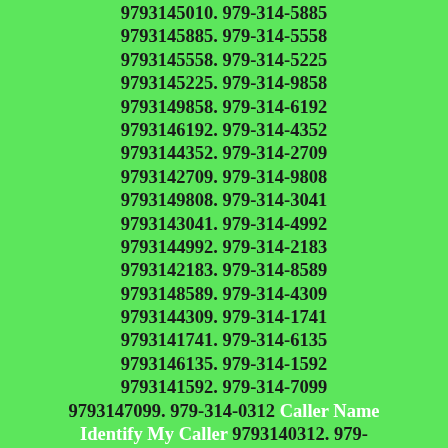9793145010. 979-314-5885 9793145885. 979-314-5558 9793145558. 979-314-5225 9793145225. 979-314-9858 9793149858. 979-314-6192 9793146192. 979-314-4352 9793144352. 979-314-2709 9793142709. 979-314-9808 9793149808. 979-314-3041 9793143041. 979-314-4992 9793144992. 979-314-2183 9793142183. 979-314-8589 9793148589. 979-314-4309 9793144309. 979-314-1741 9793141741. 979-314-6135 9793146135. 979-314-1592 9793141592. 979-314-7099 9793147099. 979-314-0312 Caller Name Identify My Caller 9793140312. 979-314-5512 9793145512. 979-314-9873 9793149873. 979-314-8069 9793148069. 979-314-5879 9793145879. 979-314-7416 9793147416. 979-314-8435 9793148435. 979-314-4538 9793144538. 979-314-9792